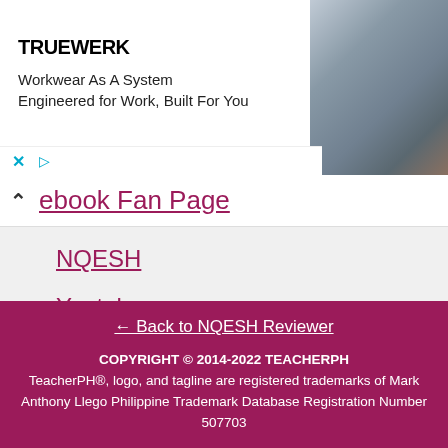[Figure (screenshot): Advertisement banner for TRUEWERK workwear showing logo, tagline 'Workkwear As A System', subtitle 'Engineered for Work, Built For You', and a photo of a worker on the right side. Ad controls (X and play button) visible at bottom left.]
ebook Fan Page
NQESH
Youtube
Twitter
← Back to NQESH Reviewer

COPYRIGHT © 2014-2022 TEACHERPH
TeacherPH®, logo, and tagline are registered trademarks of Mark Anthony Llego
Philippine Trademark Database Registration Number 507703